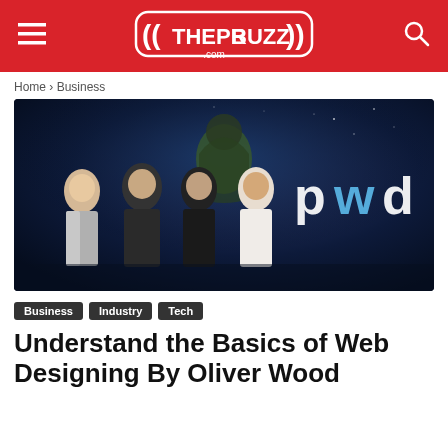THEPRBUZZ.com
Home › Business
[Figure (photo): Four people standing in front of a large curved display wall showing 'pwd' logo and a sci-fi movie poster background]
Business
Industry
Tech
Understand the Basics of Web Designing By Oliver Wood